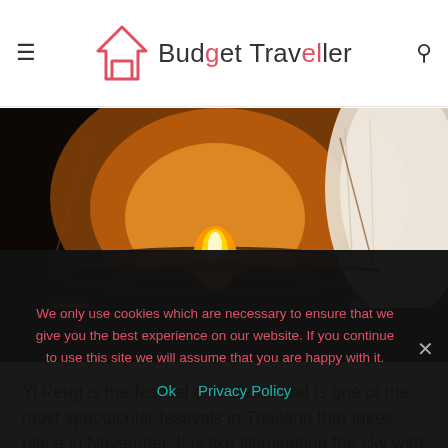Budget Traveller
[Figure (photo): Close-up of hands holding a sky lantern being lit with a flame at night, with another large white lantern visible to the right]
Yi Peng is the festival of lanterns and is one of the most spectacular festivals in Thailand that takes place in November. It is like illuminating the sky with thousands of lanterns and
We only use cookies which are necessary to ensure that we give you the best experience on our website. If you continue to use this site we will assume that you are happy with it.
Ok  Privacy Policy